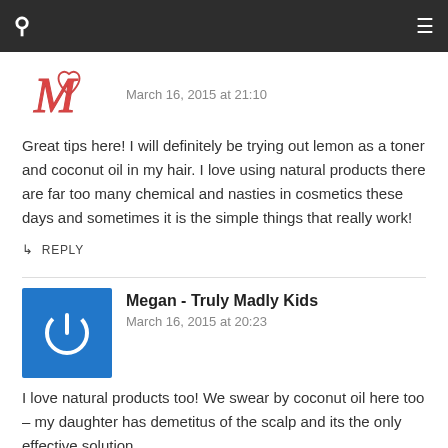Navigation bar with search and menu icons
[Figure (illustration): Handwritten M with a heart outline avatar]
March 16, 2015 at 21:10
Great tips here! I will definitely be trying out lemon as a toner and coconut oil in my hair. I love using natural products there are far too many chemical and nasties in cosmetics these days and sometimes it is the simple things that really work!
↳ REPLY
[Figure (logo): Blue square with white power button icon — avatar for Megan - Truly Madly Kids]
Megan - Truly Madly Kids
March 16, 2015 at 20:23
I love natural products too! We swear by coconut oil here too – my daughter has demetitus of the scalp and its the only effective solution.
Also my son has exzcema so anything not organic and natural results in a flair up.